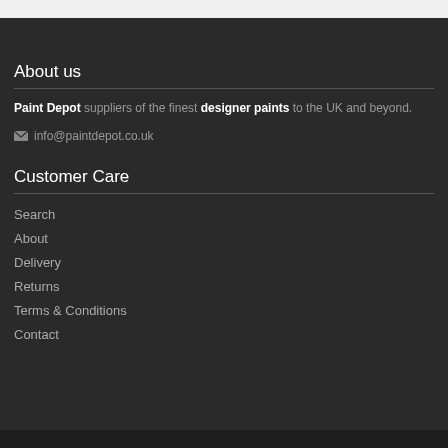About us
Paint Depot suppliers of the finest designer paints to the UK and beyond.
info@paintdepot.co.uk
Customer Care
Search
About
Delivery
Returns
Terms & Conditions
Contact